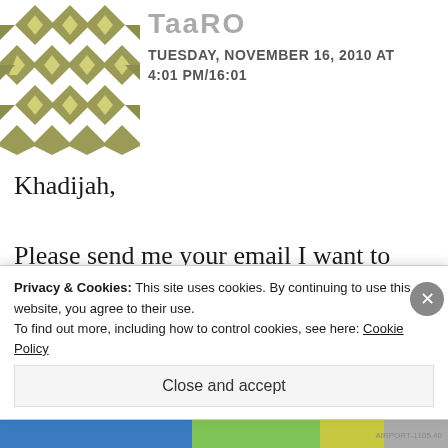[Figure (illustration): User avatar: olive/khaki geometric diamond pattern tile image]
TaaRO
TUESDAY, NOVEMBER 16, 2010 AT 4:01 PM/16:01
Khadijah,

Please send me your email I want to know where are you from and are you fluent in wolof???? I am married to a senegalese man I could use some input on something
Privacy & Cookies: This site uses cookies. By continuing to use this website, you agree to their use.
To find out more, including how to control cookies, see here: Cookie Policy
Close and accept